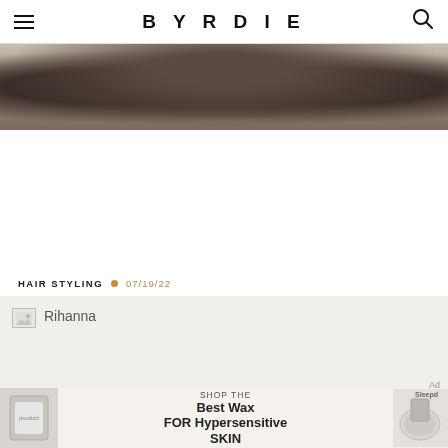BYRDIE
[Figure (photo): Cropped photo of a person with dark curly hair, close-up view from below chin level showing hair and shoulder, warm beige background]
HAIR STYLING  •  07/19/22
25 Stylish Hairstyles for Oblong Face Shapes
[Figure (photo): Rihanna photo — image broken/loading placeholder shown with 'Rihanna' label text]
Ad
[Figure (screenshot): Advertisement banner: SHOP THE Best Wax FOR Hypersensitive SKIN — with product images on left and right sides, Sleepd branding]